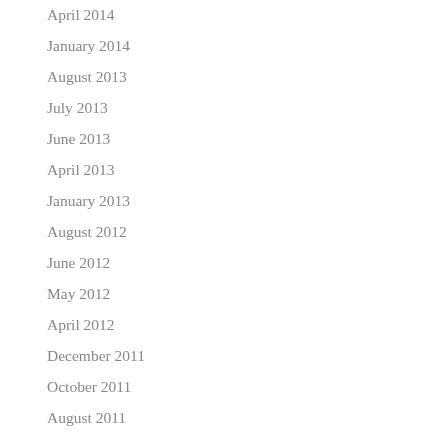April 2014
January 2014
August 2013
July 2013
June 2013
April 2013
January 2013
August 2012
June 2012
May 2012
April 2012
December 2011
October 2011
August 2011